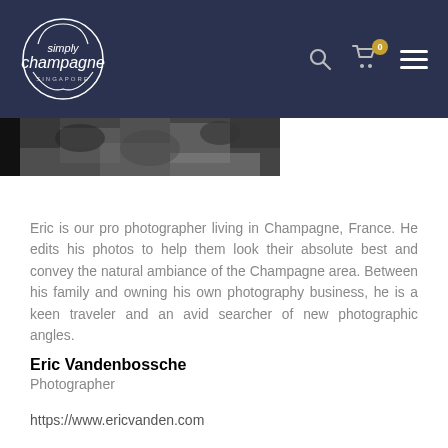simply champagne SINGAPORE
[Figure (photo): Black and white photo strip showing champagne grapes or vineyard scene]
Eric is our pro photographer living in Champagne, France. He edits his photos to help them look their absolute best and convey the natural ambiance of the Champagne area. Between his family and owning his own photography business, he is a keen traveler and an avid searcher of new photographic angles.
Eric Vandenbossche
Photographer
https://www.ericvanden.com